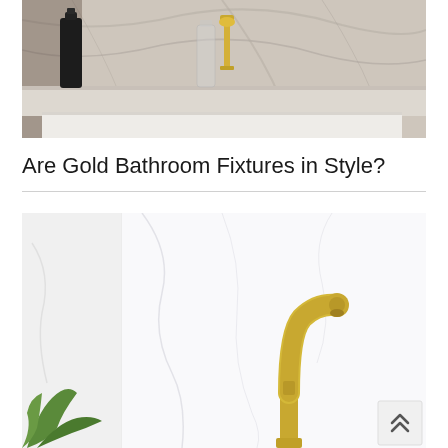[Figure (photo): Bathroom vanity with marble countertop and backsplash, black soap dispenser on left, glass bottle and gold faucet in center, white sink at bottom]
Are Gold Bathroom Fixtures in Style?
[Figure (photo): Gold brushed faucet with curved gooseneck spout against white marble background, with green plant visible in lower left corner. A scroll-to-top button with double chevron is in the lower right corner.]